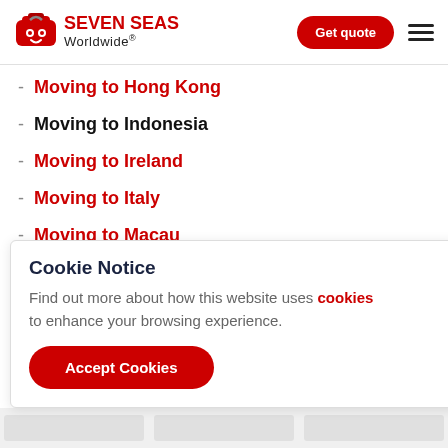SEVEN SEAS Worldwide® — Get quote
- Moving to Hong Kong
- Moving to Indonesia
- Moving to Ireland
- Moving to Italy
- Moving to Macau
- Moving to Malaysia
- Moving to the Netherlands
- Moving to New Zealand (partially visible)
Cookie Notice
Find out more about how this website uses cookies to enhance your browsing experience.
Accept Cookies